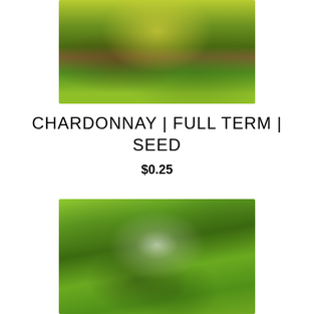[Figure (photo): Close-up photograph of a cannabis plant with yellow-green and dark purple buds and long serrated leaves against a light background]
CHARDONNAY | FULL TERM | SEED
$0.25
[Figure (photo): Close-up photograph of a cannabis bud with white trichomes surrounded by green leaves and blurred green background]